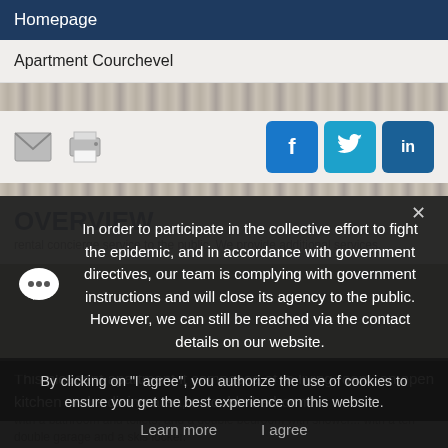Homepage
Apartment Courchevel
In order to participate in the collective effort to fight the epidemic, and in accordance with government directives, our team is complying with government instructions and will close its agency to the public. However, we can still be reached via the contact details on our website.
This pleasant apartment it composed of a living room, an open kitchen and a dining area, a double bedroom
By clicking on "I agree", you authorize the use of cookies to ensure you get the best experience on this website.
Learn more   I agree